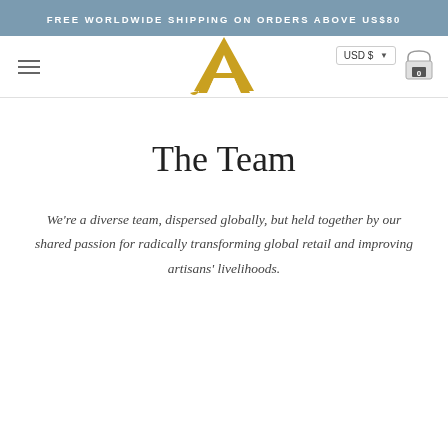FREE WORLDWIDE SHIPPING ON ORDERS ABOVE US$80
[Figure (logo): Stylized golden letter A logo for a retail brand]
The Team
We're a diverse team, dispersed globally, but held together by our shared passion for radically transforming global retail and improving artisans' livelihoods.